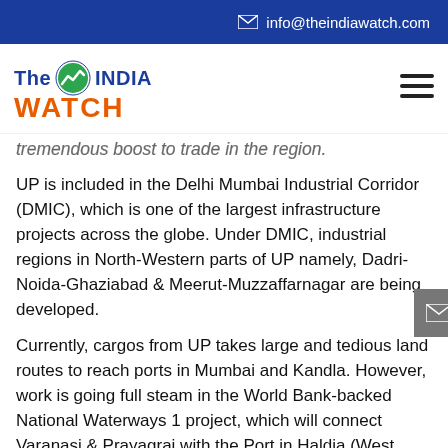✉ info@theindiawatch.com
[Figure (logo): The India Watch logo — 'The' and 'INDIA' in blue, 'WATCH' in orange, with a green stock chart icon]
tremendous boost to trade in the region.
UP is included in the Delhi Mumbai Industrial Corridor (DMIC), which is one of the largest infrastructure projects across the globe. Under DMIC, industrial regions in North-Western parts of UP namely, Dadri-Noida-Ghaziabad & Meerut-Muzzaffarnagar are being developed.
Currently, cargos from UP takes large and tedious land routes to reach ports in Mumbai and Kandla. However, work is going full steam in the World Bank-backed National Waterways 1 project, which will connect Varanasi & Prayagraj with the Port in Haldia (West Bengal) through the river Ganges. The